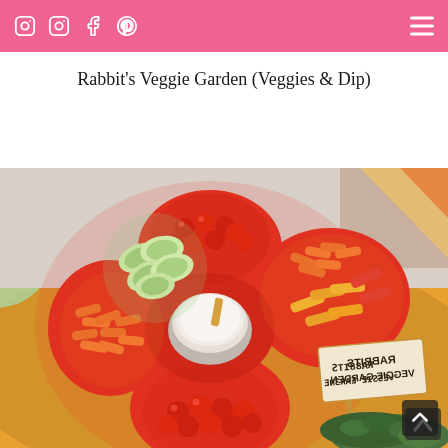Instagram Instagram Facebook Pinterest [hamburger menu]
Rabbit's Veggie Garden (Veggies & Dip)
[Figure (photo): A red flower-shaped sectional serving tray filled with various vegetables: cherry tomatoes, baby carrots, sliced cucumbers, bell pepper strips, and a central bowl of white dip with a chip. In the lower right corner a sign reads 'RABBITS VEGGIE GARDEN' and green decorative moss.]